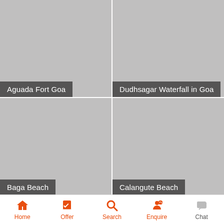[Figure (screenshot): Gray placeholder image for Aguada Fort Goa]
Aguada Fort Goa
[Figure (screenshot): Gray placeholder image for Dudhsagar Waterfall in Goa]
Dudhsagar Waterfall in Goa
[Figure (screenshot): Gray placeholder image for Baga Beach]
Baga Beach
[Figure (screenshot): Gray placeholder image for Calangute Beach]
Calangute Beach
Home
Offer
Search
Enquire
Chat